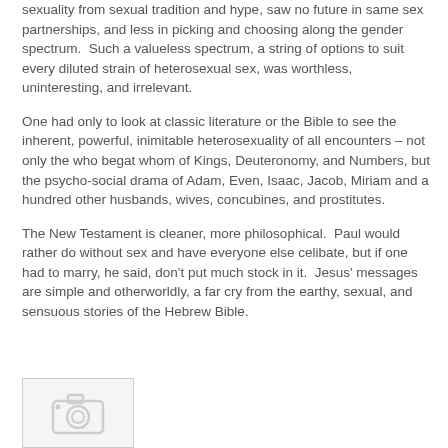sexuality from sexual tradition and hype, saw no future in same sex partnerships, and less in picking and choosing along the gender spectrum.  Such a valueless spectrum, a string of options to suit every diluted strain of heterosexual sex, was worthless, uninteresting, and irrelevant.
One had only to look at classic literature or the Bible to see the inherent, powerful, inimitable heterosexuality of all encounters – not only the who begat whom of Kings, Deuteronomy, and Numbers, but the psycho-social drama of Adam, Even, Isaac, Jacob, Miriam and a hundred other husbands, wives, concubines, and prostitutes.
The New Testament is cleaner, more philosophical.  Paul would rather do without sex and have everyone else celibate, but if one had to marry, he said, don't put much stock in it.  Jesus' messages are simple and otherworldly, a far cry from the earthy, sexual, and sensuous stories of the Hebrew Bible.
[Figure (photo): A placeholder image with a camera icon, partially visible at the bottom of the page.]